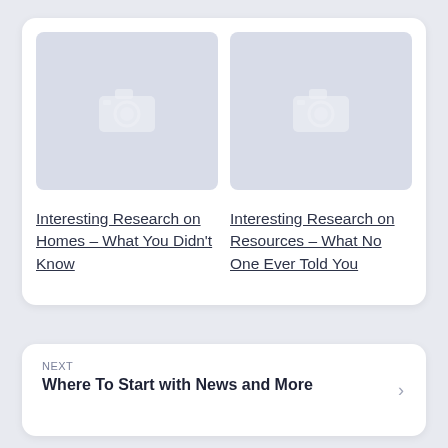[Figure (photo): Image placeholder with camera icon on the left]
[Figure (photo): Image placeholder with camera icon on the right]
Interesting Research on Homes – What You Didn't Know
Interesting Research on Resources – What No One Ever Told You
NEXT
Where To Start with News and More